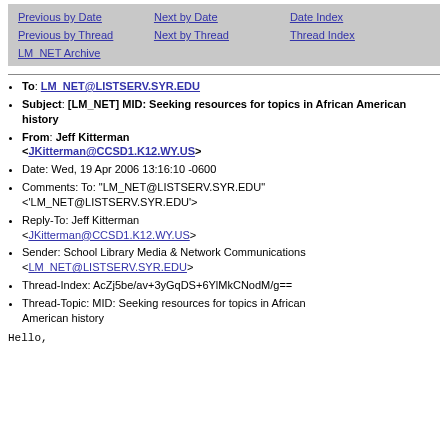Previous by Date | Next by Date | Date Index
Previous by Thread | Next by Thread | Thread Index
LM_NET Archive
To: LM_NET@LISTSERV.SYR.EDU
Subject: [LM_NET] MID: Seeking resources for topics in African American history
From: Jeff Kitterman <JKitterman@CCSD1.K12.WY.US>
Date: Wed, 19 Apr 2006 13:16:10 -0600
Comments: To: "LM_NET@LISTSERV.SYR.EDU" <'LM_NET@LISTSERV.SYR.EDU'>
Reply-To: Jeff Kitterman <JKitterman@CCSD1.K12.WY.US>
Sender: School Library Media & Network Communications <LM_NET@LISTSERV.SYR.EDU>
Thread-Index: AcZj5be/av+3yGqDS+6YlMkCNodM/g==
Thread-Topic: MID: Seeking resources for topics in African American history
Hello,